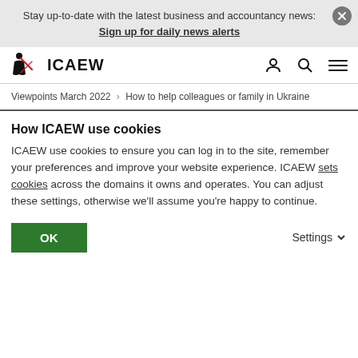Stay up-to-date with the latest business and accountancy news: Sign up for daily news alerts
[Figure (logo): ICAEW logo with figure and red slash, followed by bold text ICAEW]
Viewpoints March 2022 > How to help colleagues or family in Ukraine
How ICAEW use cookies
ICAEW use cookies to ensure you can log in to the site, remember your preferences and improve your website experience. ICAEW sets cookies across the domains it owns and operates. You can adjust these settings, otherwise we'll assume you're happy to continue.
OK   Settings